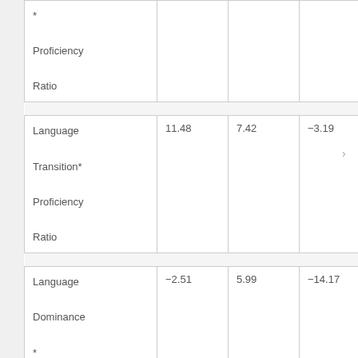| Variable | Estimate | SE | Lower CI | Upper CI | ... |
| --- | --- | --- | --- | --- | --- |
| *
Proficiency
Ratio |  |  |  |  |  |
| Language
Transition*
Proficiency
Ratio | 11.48 | 7.42 | −3.19 | 26.13 | 1 |
| Language
Dominance
*
Language
Transition | −2.51 | 5.99 | −14.17 | 9.26 | 1 |